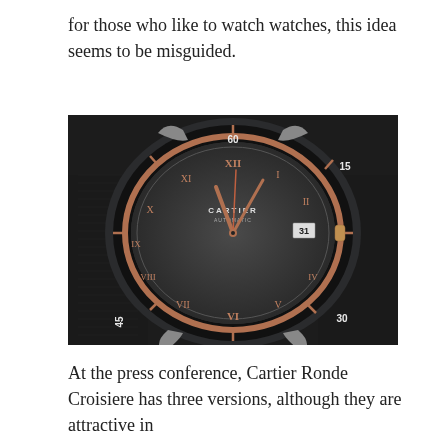for those who like to watch watches, this idea seems to be misguided.
[Figure (photo): Close-up photo of a Cartier Ronde Croisiere watch with a dark dial, rose gold Roman numerals, black bezel with minute markers showing 60, 15, 30, 45, and a black leather strap.]
At the press conference, Cartier Ronde Croisiere has three versions, although they are attractive in